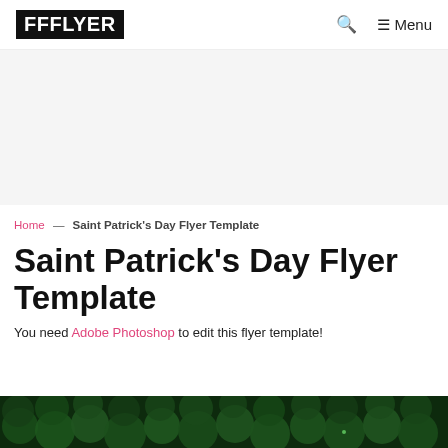FFFLYER — Menu
Home — Saint Patrick's Day Flyer Template
Saint Patrick's Day Flyer Template
You need Adobe Photoshop to edit this flyer template!
[Figure (photo): Dark green circular leaf/plant pattern at the bottom of the page]